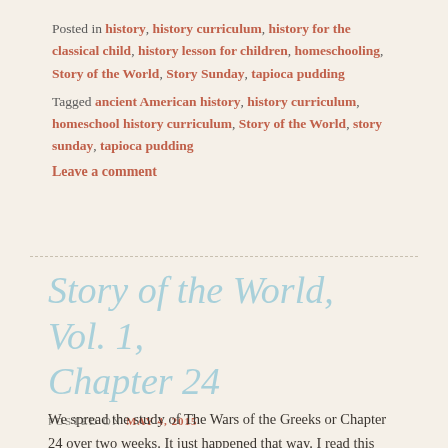Posted in history, history curriculum, history for the classical child, history lesson for children, homeschooling, Story of the World, Story Sunday, tapioca pudding
Tagged ancient American history, history curriculum, homeschool history curriculum, Story of the World, story sunday, tapioca pudding
Leave a comment
Story of the World, Vol. 1, Chapter 24
POSTED ON MAY 4, 2015
We spread the study of The Wars of the Greeks or Chapter 24 over two weeks. It just happened that way. I read this